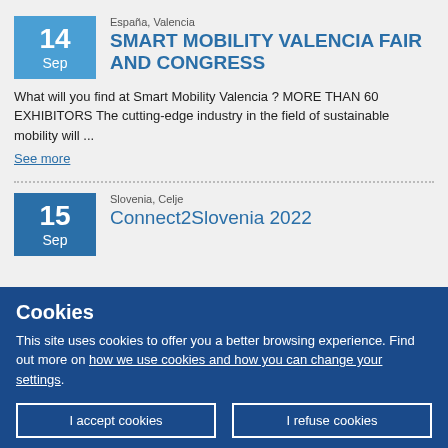España, Valencia
SMART MOBILITY VALENCIA FAIR AND CONGRESS
What will you find at Smart Mobility Valencia ? MORE THAN 60 EXHIBITORS The cutting-edge industry in the field of sustainable mobility will ...
See more
Slovenia, Celje
Connect2Slovenia 2022
Cookies
This site uses cookies to offer you a better browsing experience. Find out more on how we use cookies and how you can change your settings.
I accept cookies
I refuse cookies